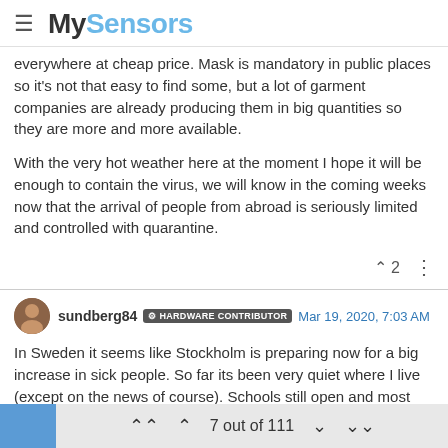MySensors
everywhere at cheap price. Mask is mandatory in public places so it's not that easy to find some, but a lot of garment companies are already producing them in big quantities so they are more and more available.
With the very hot weather here at the moment I hope it will be enough to contain the virus, we will know in the coming weeks now that the arrival of people from abroad is seriously limited and controlled with quarantine.
sundberg84 HARDWARE CONTRIBUTOR Mar 19, 2020, 7:03 AM
In Sweden it seems like Stockholm is preparing now for a big increase in sick people. So far its been very quiet where I live (except on the news of course). Schools still open and most work places open, but people are limiting their social contacts and working from home if possible. Toilet paper out of stock
7 out of 111